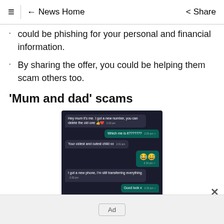≡ | ← News Home  Share
could be phishing for your personal and financial information.
By sharing the offer, you could be helping them scam others too.
'Mum and dad' scams
[Figure (screenshot): Screenshot of a WhatsApp-style chat conversation showing a 'mum and dad' scam. Messages include: 'Hey mum it's me. I got a new number, you can delete the old one 👍❤️', 'Which me is it???????', 'Your oldest and cutest child xx', two laughing emoji faces, 'I got a new phone, I'm still transferring everything', 'Good luck x', 'I have a little problem I can't solve. Can']
Ad